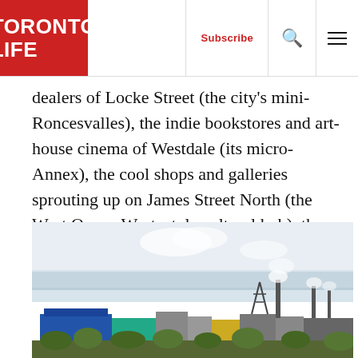TORONTO LIFE | Subscribe
dealers of Locke Street (the city’s mini-Roncesvalles), the indie bookstores and art-house cinema of Westdale (its micro-Annex), the cool shops and galleries sprouting up on James Street North (the West Queen West–style cultural hub), the nature trails and waterfalls lining the escarpment that bisects the city.
[Figure (photo): Aerial cityscape view showing industrial area with factories, smokestacks emitting steam, blue warehouse buildings, and city sprawl in the background under a pale sky.]